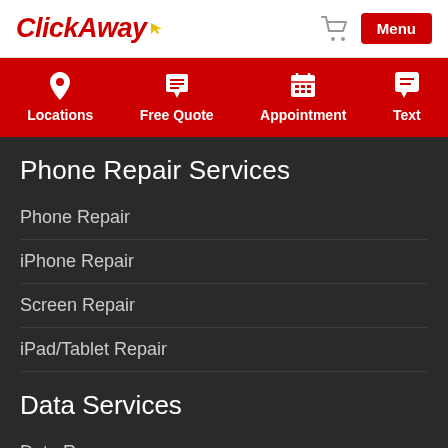ClickAway
[Figure (screenshot): Navigation bar with icons for Locations, Free Quote, Appointment, Text on red background]
Phone Repair Services
Phone Repair
iPhone Repair
Screen Repair
iPad/Tablet Repair
Data Services
Data Recovery